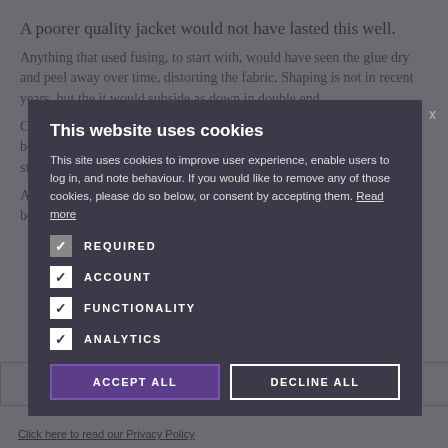A poorer quality jacket would not have lasted this well.
Anything that used fusing to start with, would have seen the glue dry and peel away over time, distorting the fabric. Shaping is not in recent years, but the it would subside as down in double end.
Canopy in Italy, has a scar bar older than lighter light structure in the body. Nicoletta often says that these lighter layers lose nothing in strength or durability, and her father's jacket is clearly good evidence.
Any handmade tailoring is also easier to repair, for the principles into before (provides here on
[Figure (screenshot): Cookie consent modal overlay with dark background. Title: 'This website uses cookies'. Description text about cookies. Checkboxes for REQUIRED, ACCOUNT, FUNCTIONALITY, ANALYTICS. ACCEPT ALL and DECLINE ALL buttons.]
CLICK HERE TO REGISTER
Click here to read our Privacy Policy